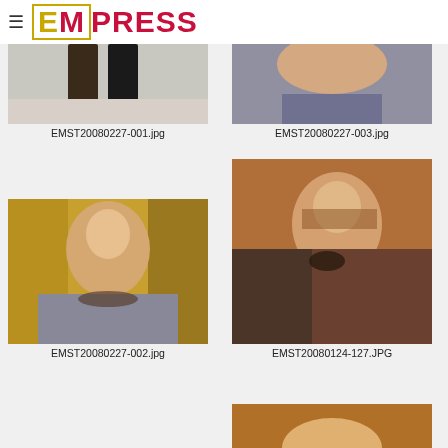☰ EMPRESS
[Figure (photo): Partial photo showing feet/lower body, cropped at top]
EMST20080227-001.jpg
[Figure (photo): Partial photo showing woman's neckline/chest area in sparkly fabric, cropped at top]
EMST20080227-003.jpg
[Figure (photo): Woman with blonde updo hair smiling, wearing necklace and grey sparkly top, gold/green background]
EMST20080227-002.jpg
[Figure (photo): Woman with short blonde hair looking up, wearing dark jacket with flower brooch, warm orange lighting]
EMST20080124-127.JPG
[Figure (photo): Partial photo of woman, cropped, visible at bottom of page]